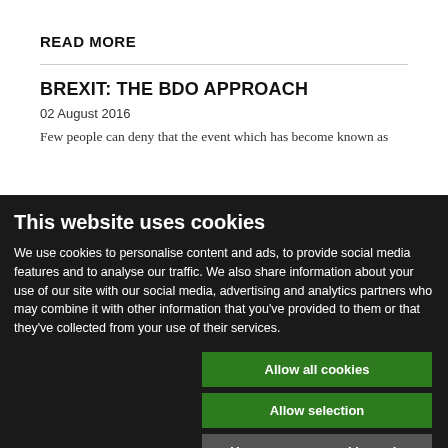READ MORE
BREXIT: THE BDO APPROACH
02 August 2016
Few people can deny that the event which has become known as
This website uses cookies
We use cookies to personalise content and ads, to provide social media features and to analyse our traffic. We also share information about your use of our site with our social media, advertising and analytics partners who may combine it with other information that you've provided to them or that they've collected from your use of their services.
Allow all cookies
Allow selection
Use necessary cookies only
Necessary  Preferences  Statistics  Marketing  Show details